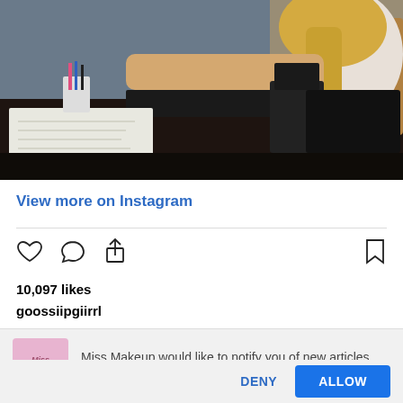[Figure (photo): Photo of a woman with blonde hair at a desk, with papers, a telephone, laptop, and stationery visible. Dark wooden desk surface.]
View more on Instagram
10,097 likes
goossiipgiirrl
Miss Makeup would like to notify you of new articles and posts
DENY
ALLOW